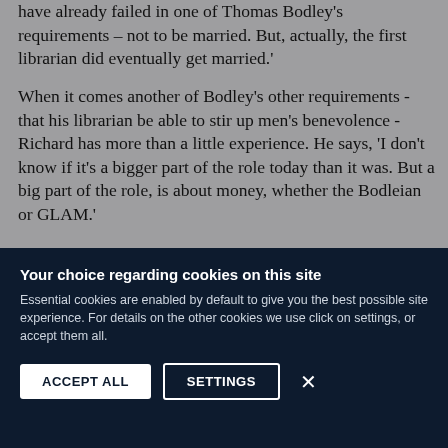have already failed in one of Thomas Bodley's requirements – not to be married. But, actually, the first librarian did eventually get married.'
When it comes another of Bodley's other requirements - that his librarian be able to stir up men's benevolence - Richard has more than a little experience. He says, 'I don't know if it's a bigger part of the role today than it was. But a big part of the role, is about money, whether the Bodleian or GLAM.'
Your choice regarding cookies on this site
Essential cookies are enabled by default to give you the best possible site experience. For details on the other cookies we use click on settings, or accept them all.